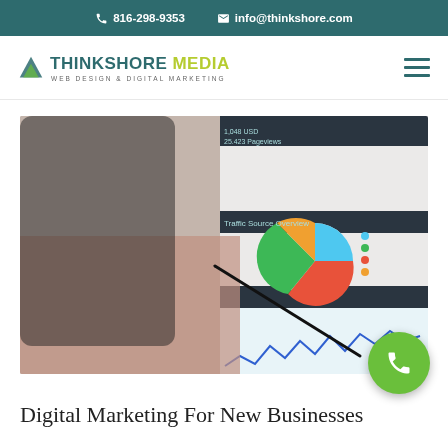816-298-9353  info@thinkshore.com
[Figure (logo): Thinkshore Media logo with green triangle icon, teal THINKSHORE text, yellow-green MEDIA text, and tagline WEB DESIGN & DIGITAL MARKETING]
[Figure (photo): Person pointing at a tablet screen showing digital analytics dashboard with pie chart, line graph, and traffic statistics. A smartphone is visible in background.]
Digital Marketing For New Businesses